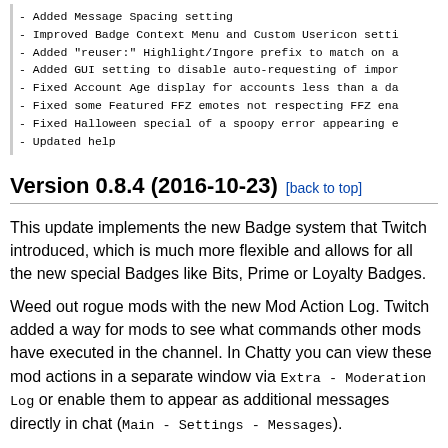- Added Message Spacing setting
- Improved Badge Context Menu and Custom Usericon setti
- Added "reuser:" Highlight/Ingore prefix to match on a
- Added GUI setting to disable auto-requesting of impor
- Fixed Account Age display for accounts less than a da
- Fixed some Featured FFZ emotes not respecting FFZ ena
- Fixed Halloween special of a spoopy error appearing e
- Updated help
Version 0.8.4 (2016-10-23) [back to top]
This update implements the new Badge system that Twitch introduced, which is much more flexible and allows for all the new special Badges like Bits, Prime or Loyalty Badges.
Weed out rogue mods with the new Mod Action Log. Twitch added a way for mods to see what commands other mods have executed in the channel. In Chatty you can view these mod actions in a separate window via Extra - Moderation Log or enable them to appear as additional messages directly in chat (Main - Settings - Messages).
### Emotes/Badges
- Added Emoji support (are shown in chat and can be fav
- Added displaying of received Cheering emotes (sending
- Added support for new Twitch Badge system (e.g. Bits